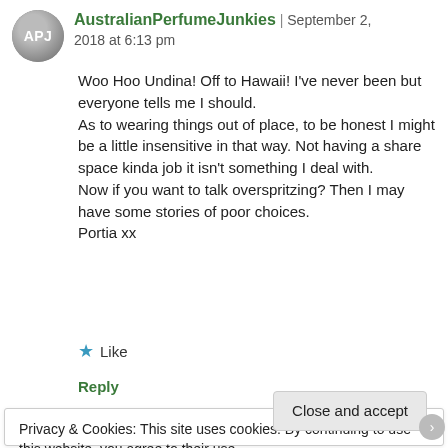AustralianPerfumeJunkies | September 2, 2018 at 6:13 pm
Woo Hoo Undina! Off to Hawaii! I've never been but everyone tells me I should.
As to wearing things out of place, to be honest I might be a little insensitive in that way. Not having a share space kinda job it isn't something I deal with.
Now if you want to talk overspritzing? Then I may have some stories of poor choices.
Portia xx
★ Like
Reply
Privacy & Cookies: This site uses cookies. By continuing to use this website, you agree to their use.
To find out more, including how to control cookies, see here: Cookie Policy